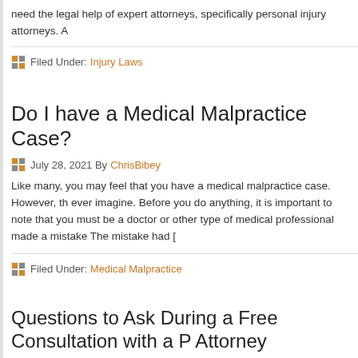need the legal help of expert attorneys, specifically personal injury attorneys. A
Filed Under: Injury Laws
Do I have a Medical Malpractice Case?
July 28, 2021 By ChrisBibey
Like many, you may feel that you have a medical malpractice case. However, th ever imagine. Before you do anything, it is important to note that you must be a doctor or other type of medical professional made a mistake The mistake had [
Filed Under: Medical Malpractice
Questions to Ask During a Free Consultation with a P Attorney
July 17, 2021 By ChrisBibey
So, you have setup a free consultation with a personal injury lawyer? Good for serious about receiving compensation for injuries caused by the negligence of a up a consultation with a personal injury lawyer is the first step in the process, th
Filed Under: Injury Laws